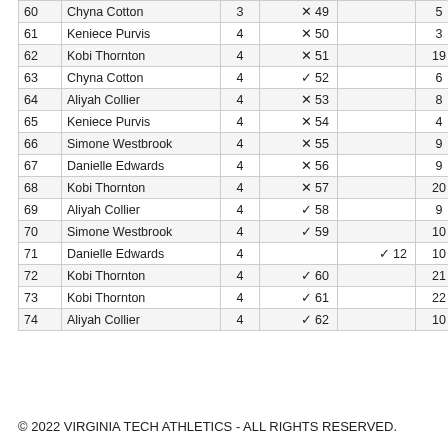| # | Name | Qtr | VT | OPP | Pts | Score |
| --- | --- | --- | --- | --- | --- | --- |
| 60 | Chyna Cotton | 3 | ✗ 49 |  | 5 | 51-49 |
| 61 | Keniece Purvis | 4 | ✗ 50 |  | 3 | 51-50 |
| 62 | Kobi Thornton | 4 | ✗ 51 |  | 19 | 51-50 |
| 63 | Chyna Cotton | 4 | ✓ 52 |  | 6 | 51-52 |
| 64 | Aliyah Collier | 4 | ✗ 53 |  | 8 | 53-52 |
| 65 | Keniece Purvis | 4 | ✗ 54 |  | 4 | 53-52 |
| 66 | Simone Westbrook | 4 | ✗ 55 |  | 9 | 53-53 |
| 67 | Danielle Edwards | 4 | ✗ 56 |  | 9 | 55-53 |
| 68 | Kobi Thornton | 4 | ✗ 57 |  | 20 | 55-53 |
| 69 | Aliyah Collier | 4 | ✓ 58 |  | 9 | 55-55 |
| 70 | Simone Westbrook | 4 | ✓ 59 |  | 10 | 55-58 |
| 71 | Danielle Edwards | 4 |  | ✓ 12 | 10 | 57-61 |
| 72 | Kobi Thornton | 4 | ✓ 60 |  | 21 | 59-63 |
| 73 | Kobi Thornton | 4 | ✓ 61 |  | 22 | 59-65 |
| 74 | Aliyah Collier | 4 | ✓ 62 |  | 10 | 59-67 |
© 2022 VIRGINIA TECH ATHLETICS - ALL RIGHTS RESERVED.